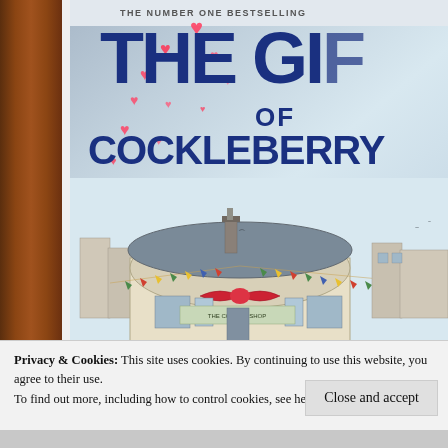[Figure (photo): A photo of the book 'The Gift of Cockleberry' with hand-drawn heart doodles overlaid. The book cover shows the title in dark blue bold text, with an illustration of a round corner shop building decorated with bunting and a red bow. The book is described as 'The Number One Bestselling' on a banner at the top. The book is resting on a dark ribbed fabric surface.]
Privacy & Cookies: This site uses cookies. By continuing to use this website, you agree to their use.
To find out more, including how to control cookies, see here: Cookie Policy
Close and accept